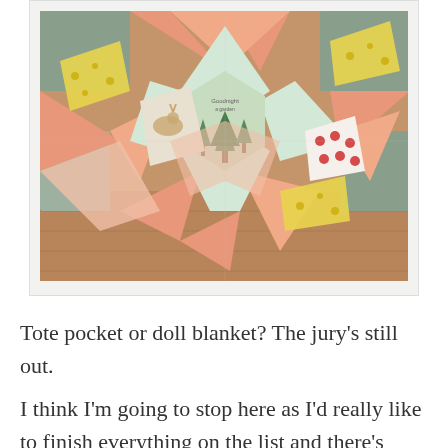[Figure (photo): A colorful patchwork quilt or fabric project laid on a wooden surface. The quilt features geometric shapes including triangles, hexagons, and star patterns in colors of peach/salmon, sage green, yellow with dots, and white fabric printed with woodland animals (deer, foxes). The center has a fabric with tree/nature print. The quilt is arranged in a star or medallion pattern.]
Tote pocket or doll blanket? The jury's still out.
I think I'm going to stop here as I'd really like to finish everything on the list and there's more than enough on there to